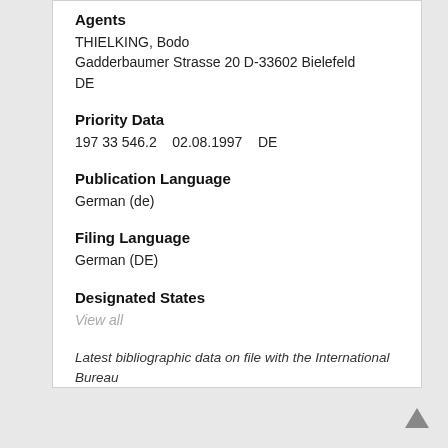Agents
THIELKING, Bodo
Gadderbaumer Strasse 20 D-33602 Bielefeld
DE
Priority Data
197 33 546.2    02.08.1997    DE
Publication Language
German (de)
Filing Language
German (DE)
Designated States
View all
Latest bibliographic data on file with the International Bureau